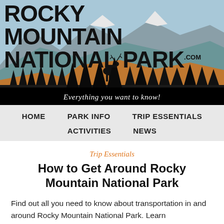[Figure (illustration): Rocky Mountain National Park website header banner with illustrated mountain landscape (sky blue background, layered grey and teal mountains with snow caps, orange/tan hillside, dark silhouette elk standing center, silhouette pine trees foreground), bold site title text 'ROCKY MOUNTAIN NATIONAL PARK .com' overlaid on top, and tagline 'Everything you want to know!' in italic white text on dark bar at bottom.]
HOME   PARK INFO   TRIP ESSENTIALS   ACTIVITIES   NEWS
Trip Essentials
How to Get Around Rocky Mountain National Park
Find out all you need to know about transportation in and around Rocky Mountain National Park. Learn